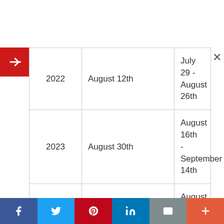| 2022 | August 12th | July 29 - August 26th |
| 2023 | August 30th | August 16th - September 14th |
| 2024 | August 18th | August 4th - September 2nd |